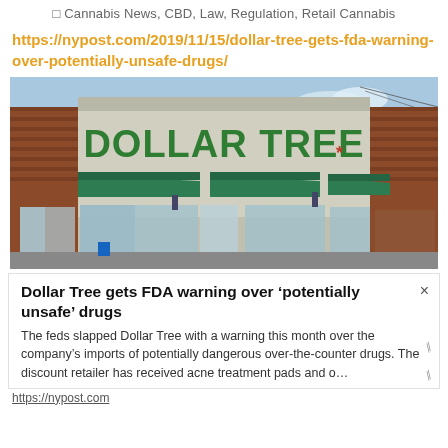□ Cannabis News, CBD, Law, Regulation, Retail Cannabis
https://nypost.com/2019/11/15/dollar-tree-gets-fda-warning-over-potentially-unsafe-drugs/
[Figure (photo): Exterior photo of a Dollar Tree retail store with green awnings and brick facade]
Dollar Tree gets FDA warning over ‘potentially unsafe’ drugs
The feds slapped Dollar Tree with a warning this month over the company’s imports of potentially dangerous over-the-counter drugs. The discount retailer has received acne treatment pads and o…
https://nypost.com